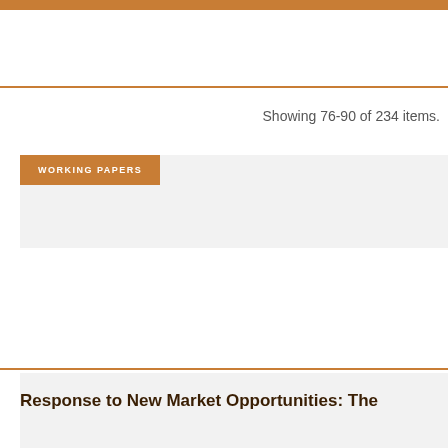Showing 76-90 of 234 items.
WORKING PAPERS
Response to New Market Opportunities: The